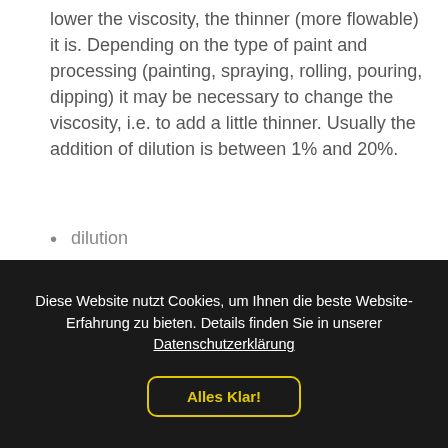lower the viscosity, the thinner (more flowable) it is. Depending on the type of paint and processing (painting, spraying, rolling, pouring, dipping) it may be necessary to change the viscosity, i.e. to add a little thinner. Usually the addition of dilution is between 1% and 20%.
dilution
Just like with the hardener, it is important to use the right thinner. This is also stated in the description of the paint and usually on the paint can.
Pot life
Diese Website nutzt Cookies, um Ihnen die beste Website-Erfahrung zu bieten. Details finden Sie in unserer Datenschutzerklärung

Alles Klar!